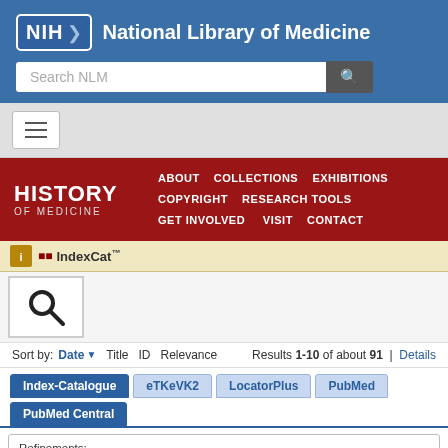[Figure (logo): NIH National Library of Medicine header logo with search bar on blue background]
[Figure (screenshot): Navigation hamburger menu bar on light gray background]
[Figure (screenshot): History of Medicine red navigation bar with menu links: ABOUT, COLLECTIONS, EXHIBITIONS, COPYRIGHT, RESEARCH TOOLS, GET INVOLVED, VISIT, CONTACT]
[Figure (screenshot): IndexCat search interface bar with logo icon]
Sort by: Date ▼  Title  ID  Relevance    Results 1-10 of about 91 | Details
Index-Catalogue  eTKeVK2  LocatorPlus  PubMed  PubMed Central
Refinements: Index-Catalogue, Library of the Surgeon-General's Office 1880-1961: Series 2, 1896- > Volume 021 × > Page 267 ×
Select/deselect all on this...